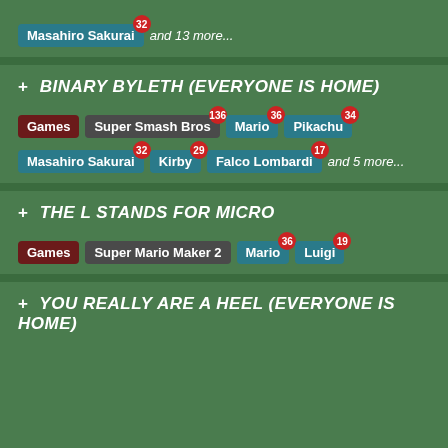Masahiro Sakurai [32] and 13 more...
+ BINARY BYLETH (EVERYONE IS HOME)
Games | Super Smash Bros [136] | Mario [36] | Pikachu [34] | Masahiro Sakurai [32] | Kirby [29] | Falco Lombardi [17] and 5 more...
+ THE L STANDS FOR MICRO
Games | Super Mario Maker 2 | Mario [36] | Luigi [19]
+ YOU REALLY ARE A HEEL (EVERYONE IS HOME)